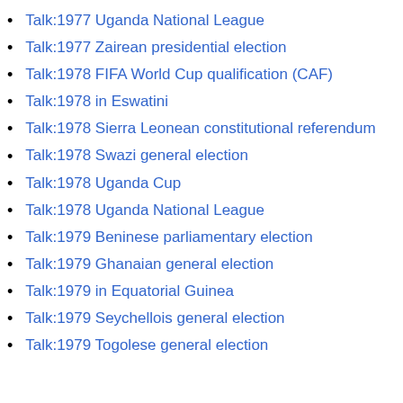Talk:1977 Uganda National League
Talk:1977 Zairean presidential election
Talk:1978 FIFA World Cup qualification (CAF)
Talk:1978 in Eswatini
Talk:1978 Sierra Leonean constitutional referendum
Talk:1978 Swazi general election
Talk:1978 Uganda Cup
Talk:1978 Uganda National League
Talk:1979 Beninese parliamentary election
Talk:1979 Ghanaian general election
Talk:1979 in Equatorial Guinea
Talk:1979 Seychellois general election
Talk:1979 Togolese general election